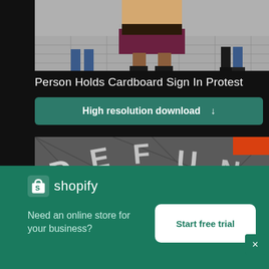[Figure (photo): Top portion of a photo showing a person holding a cardboard sign in protest — visible from waist down, wearing dark skirt and boots, with other people's legs in background on a tiled surface.]
Person Holds Cardboard Sign In Protest
[Figure (other): Green download button with text 'High resolution download' and a down arrow icon.]
[Figure (photo): Photo of pavement/ground with chalk graffiti letters spelling partial words like DEFUND DISMANTLE etc., with an orange object in the top right corner.]
[Figure (screenshot): Shopify advertisement banner with logo, tagline 'Need an online store for your business?' and a 'Start free trial' button. Has a close (X) button.]